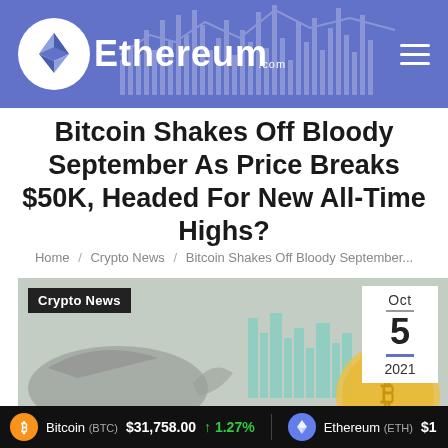Ethereum.com
Bitcoin Shakes Off Bloody September As Price Breaks $50K, Headed For New All-Time Highs?
Home / Crypto News / Bitcoin Shakes Off Bloody September...
[Figure (photo): Article thumbnail image showing a whale/bitcoin illustration with a city skyline background, labeled Crypto News, dated Oct 5 2021]
Bitcoin (BTC) $31,758.00 ↑1.27%   Ethereum (ETH) $1...